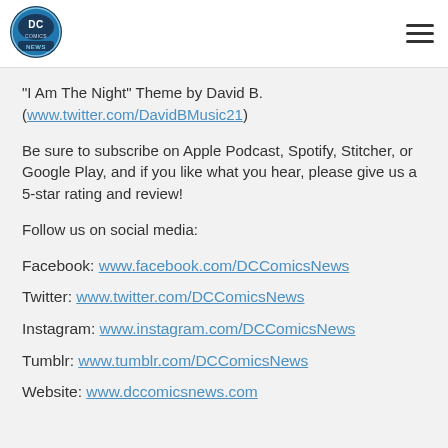[Figure (logo): DC Comics News circular logo badge in blue and black]
"I Am The Night" Theme by David B. (www.twitter.com/DavidBMusic21)
Be sure to subscribe on Apple Podcast, Spotify, Stitcher, or Google Play, and if you like what you hear, please give us a 5-star rating and review!
Follow us on social media:
Facebook: www.facebook.com/DCComicsNews
Twitter: www.twitter.com/DCComicsNews
Instagram: www.instagram.com/DCComicsNews
Tumblr: www.tumblr.com/DCComicsNews
Website: www.dccomicsnews.com